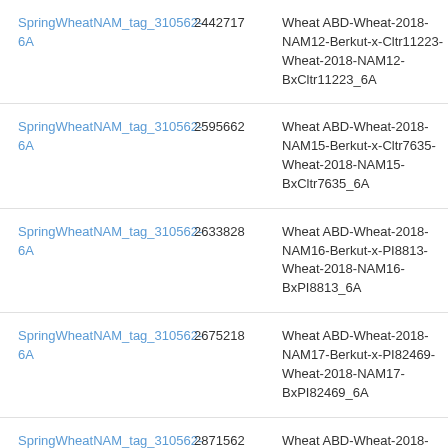| SpringWheatNAM_tag_310562-6A | 2442717 | Wheat ABD-Wheat-2018-NAM12-Berkut-x-Cltr11223-Wheat-2018-NAM12-BxCltr11223_6A | Gen- |
| SpringWheatNAM_tag_310562-6A | 2595662 | Wheat ABD-Wheat-2018-NAM15-Berkut-x-Cltr7635-Wheat-2018-NAM15-BxCltr7635_6A | Gen- |
| SpringWheatNAM_tag_310562-6A | 2633828 | Wheat ABD-Wheat-2018-NAM16-Berkut-x-PI8813-Wheat-2018-NAM16-BxPI8813_6A | Gen- |
| SpringWheatNAM_tag_310562-6A | 2675218 | Wheat ABD-Wheat-2018-NAM17-Berkut-x-PI82469-Wheat-2018-NAM17-BxPI82469_6A | Gen- |
| SpringWheatNAM_tag_310562- | 2871562 | Wheat ABD-Wheat-2018-NAM20-Berkut-x- | Gen- |